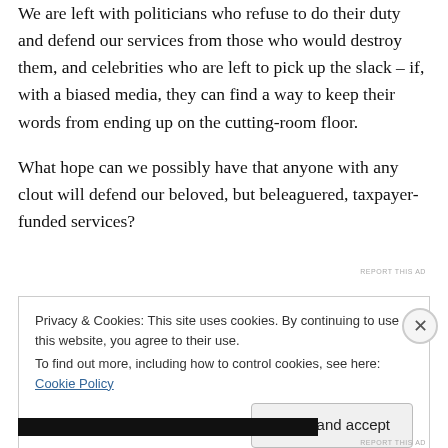We are left with politicians who refuse to do their duty and defend our services from those who would destroy them, and celebrities who are left to pick up the slack – if, with a biased media, they can find a way to keep their words from ending up on the cutting-room floor.
What hope can we possibly have that anyone with any clout will defend our beloved, but beleaguered, taxpayer-funded services?
REPORT THIS AD
Privacy & Cookies: This site uses cookies. By continuing to use this website, you agree to their use.
To find out more, including how to control cookies, see here: Cookie Policy
Close and accept
REPORT THIS AD